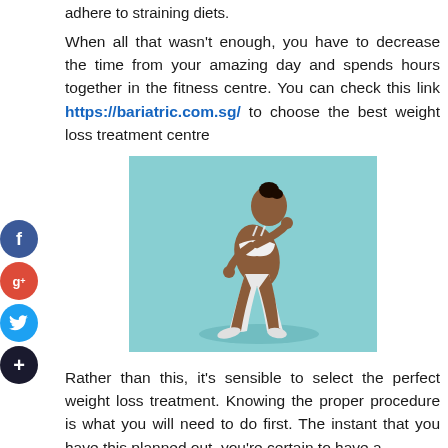adhere to straining diets.
When all that wasn't enough, you have to decrease the time from your amazing day and spends hours together in the fitness centre. You can check this link https://bariatric.com.sg/ to choose the best weight loss treatment centre
[Figure (photo): A woman in white athletic wear running or sprinting against a light blue background]
Rather than this, it's sensible to select the perfect weight loss treatment. Knowing the proper procedure is what you will need to do first. The instant that you have this planned out, you're certain to have a